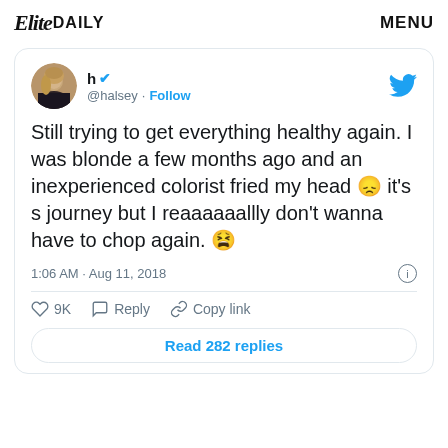Elite DAILY   MENU
[Figure (screenshot): Screenshot of a tweet by @halsey. Avatar shows a woman with blonde/dark hair. Twitter verified badge shown. Text: Still trying to get everything healthy again. I was blonde a few months ago and an inexperienced colorist fried my head 😞 it's s journey but I reaaaaaallly don't wanna have to chop again. 😫 Timestamp: 1:06 AM · Aug 11, 2018. Likes: 9K. Actions: Reply, Copy link. Button: Read 282 replies.]